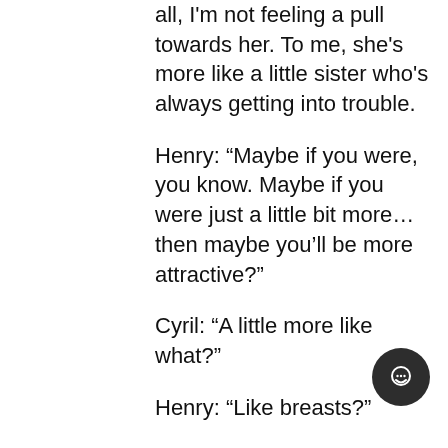all, I'm not feeling a pull towards her. To me, she's more like a little sister who's always getting into trouble.
Henry: “Maybe if you were, you know. Maybe if you were just a little bit more… then maybe you’ll be more attractive?”
Cyril: “A little more like what?”
Henry: “Like breasts?”
Oh ****. Her eyes are like icy daggers now. She’s won’t stop looking at me with those eyes.
Henry: “Oh Cyril, your cookies arrived.”
Cyril: “OH! Yaaay—”